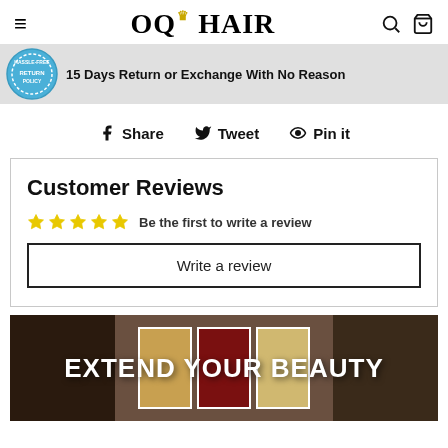OQ HAIR
[Figure (infographic): Hassle-Free Return Policy badge with text: 15 Days Return or Exchange With No Reason]
Share  Tweet  Pin it
Customer Reviews
☆☆☆☆☆  Be the first to write a review
Write a review
[Figure (photo): EXTEND YOUR BEAUTY banner with women wearing hair extensions]